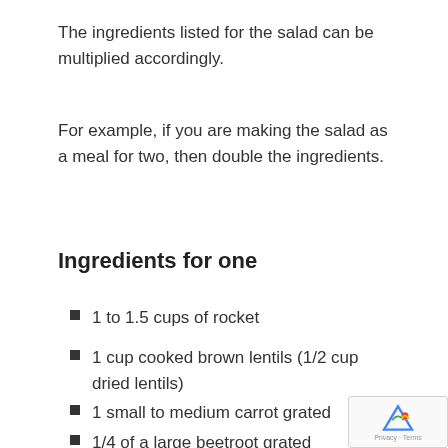The ingredients listed for the salad can be multiplied accordingly.
For example, if you are making the salad as a meal for two, then double the ingredients.
Ingredients for one
1 to 1.5 cups of rocket
1 cup cooked brown lentils (1/2 cup dried lentils)
1 small to medium carrot grated
1/4 of a large beetroot grated